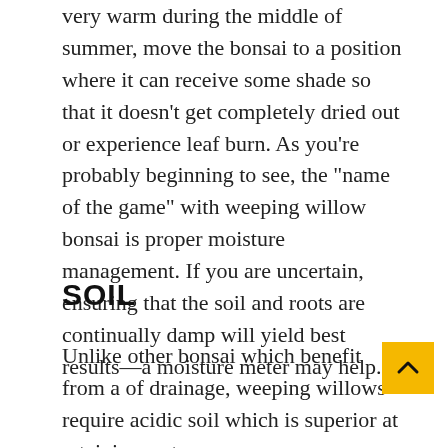very warm during the middle of summer, move the bonsai to a position where it can receive some shade so that it doesn’t get completely dried out or experience leaf burn. As you’re probably beginning to see, the “name of the game” with weeping willow bonsai is proper moisture management. If you are uncertain, ensuring that the soil and roots are continually damp will yield best results—a moisture meter may help.
SOIL
Unlike other bonsai which benefit from a of drainage, weeping willows require acidic soil which is superior at retaining water.